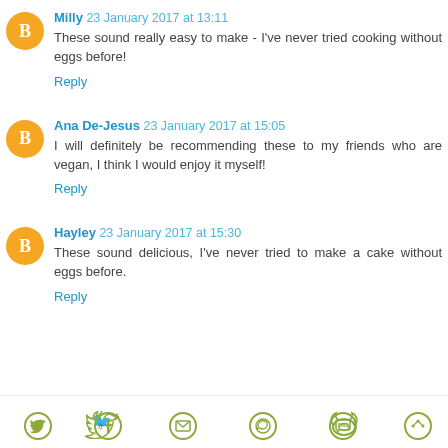Milly 23 January 2017 at 13:11 — These sound really easy to make - I've never tried cooking without eggs before! Reply
Ana De-Jesus 23 January 2017 at 15:05 — I will definitely be recommending these to my friends who are vegan, I think I would enjoy it myself! Reply
Hayley 23 January 2017 at 15:30 — These sound delicious, I've never tried to make a cake without eggs before. Reply
[Figure (infographic): Social share bar with icons: Twitter, Facebook, Email, WhatsApp, SMS, and another share icon, all in olive/yellow-green color]